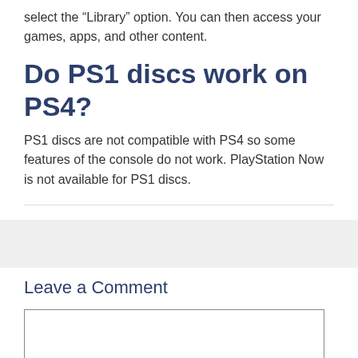select the “Library” option. You can then access your games, apps, and other content.
Do PS1 discs work on PS4?
PS1 discs are not compatible with PS4 so some features of the console do not work. PlayStation Now is not available for PS1 discs.
Leave a Comment